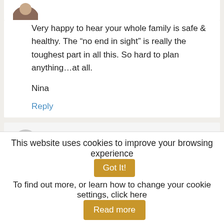[Figure (photo): Partial avatar image at top of comment block]
Very happy to hear your whole family is safe & healthy. The “no end in sight” is really the toughest part in all this. So hard to plan anything…at all.
Nina
Reply
[Figure (photo): Gray avatar circle for Susan]
Susan says
This website uses cookies to improve your browsing experience
Got It!
To find out more, or learn how to change your cookie settings, click here
Read more